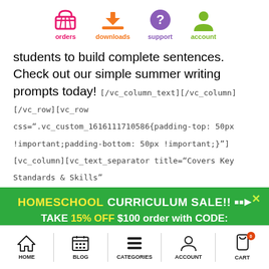[Figure (other): Top navigation bar with four icons: orders (pink shopping basket), downloads (orange download arrow), support (purple question mark), account (green person icon)]
students to build complete sentences.  Check out our simple summer writing prompts today! [/vc_column_text][/vc_column][/vc_row][vc_row css=".vc_custom_1616111710586{padding-top: 50px !important;padding-bottom: 50px !important;}"][vc_column][vc_text_separator title="Covers Key Standards & Skills"
[Figure (infographic): Green promotional banner: HOMESCHOOL CURRICULUM SALE!! with arrow icon. TAKE 15% OFF $100 order with CODE: 15OFF100  ENDS 8/30/22. Yellow X close button.]
[Figure (other): Bottom mobile navigation bar with five items: HOME (house icon), BLOG (calendar icon), CATEGORIES (stacked lines icon), ACCOUNT (person icon), CART (bag icon with badge showing 0)]